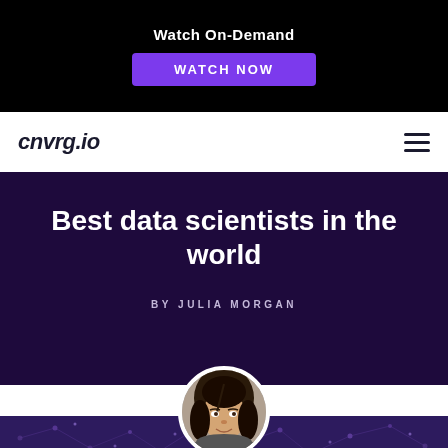Watch On-Demand
WATCH NOW
[Figure (logo): cnvrg.io logo in dark navy bold italic text with hamburger menu icon on the right]
Best data scientists in the world
BY JULIA MORGAN
[Figure (photo): Circular portrait photo of Julia Morgan, a woman with dark hair, smiling]
[Figure (illustration): Dark purple banner strip with dot/network pattern at the bottom of the page]